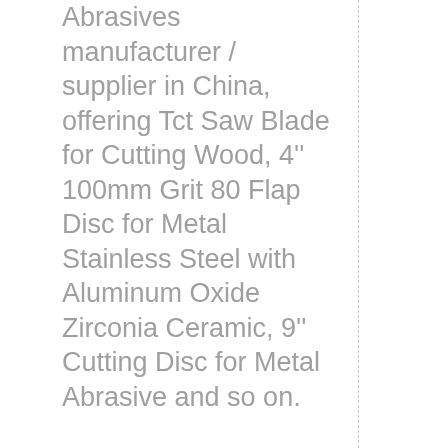Abrasives manufacturer / supplier in China, offering Tct Saw Blade for Cutting Wood, 4'' 100mm Grit 80 Flap Disc for Metal Stainless Steel with Aluminum Oxide Zirconia Ceramic, 9'' Cutting Disc for Metal Abrasive and so on.